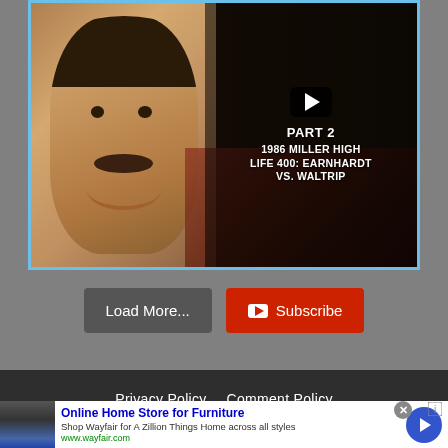[Figure (screenshot): Video thumbnail showing a man's face on the left and overlay text on the right: PART 2, 1986 MILLER HIGH LIFE 400: EARNHARDT VS. WALTRIP, with a YouTube play button]
Load More...
Subscribe
Privacy Policy    Comment Policy
Thanks for visiting Frontstretch!
[Figure (infographic): Advertisement for Wayfair Online Home Store for Furniture showing appliance image, title 'Online Home Store for Furniture', description 'Shop Wayfair for A Zillion Things Home across all styles', URL 'www.wayfair.com', and a blue arrow button]